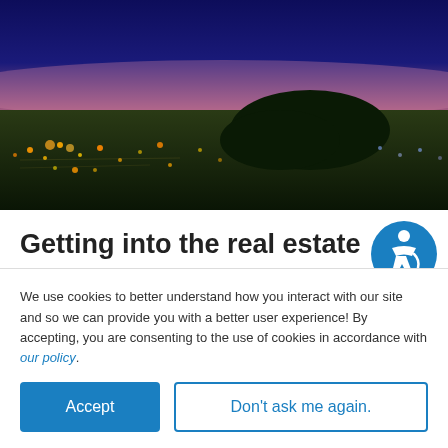[Figure (photo): Aerial night-time panoramic photo of a town/city with street lights, glowing orange and yellow lights below, dark tree-covered hill in center, pink-purple twilight sky above.]
Getting into the real estate business can be a daunting thought. Not becasue you dont have the passion or mindset to be great...it's mostly due to
We use cookies to better understand how you interact with our site and so we can provide you with a better user experience! By accepting, you are consenting to the use of cookies in accordance with our policy.
Accept
Don't ask me again.